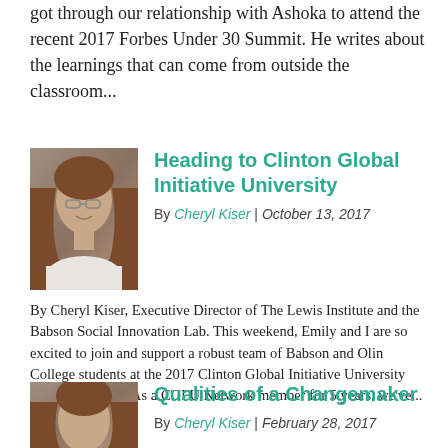got through our relationship with Ashoka to attend the recent 2017 Forbes Under 30 Summit. He writes about the learnings that can come from outside the classroom...
[Figure (photo): Headshot photo of Cheryl Kiser, a woman with shoulder-length brown hair and glasses, wearing a light-colored top.]
Heading to Clinton Global Initiative University
By Cheryl Kiser | October 13, 2017
By Cheryl Kiser, Executive Director of The Lewis Institute and the Babson Social Innovation Lab. This weekend, Emily and I are so excited to join and support a robust team of Babson and Olin College students at the 2017 Clinton Global Initiative University Annual Meeting. As a CGI U Network member for 5 years, we've...
[Figure (photo): Headshot photo of Cheryl Kiser, partially visible at the bottom of the page.]
Qualities of a Changemaker
By Cheryl Kiser | February 28, 2017